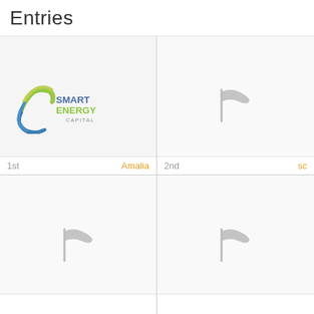Entries
[Figure (logo): SmartEnergy Capital logo - globe/spiral icon in blue and green with text SmartEnergy Capital]
1st
Amalia
[Figure (other): Flag placeholder icon - grey flag outline]
2nd
sc
[Figure (other): Flag placeholder icon - grey flag outline]
[Figure (other): Flag placeholder icon - grey flag outline]